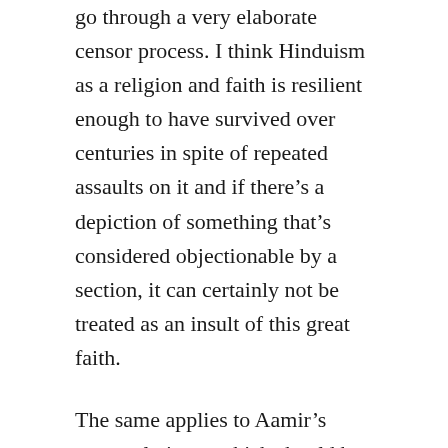go through a very elaborate censor process. I think Hinduism as a religion and faith is resilient enough to have survived over centuries in spite of repeated assaults on it and if there’s a depiction of something that’s considered objectionable by a section, it can certainly not be treated as an insult of this great faith.
The same applies to Aamir’s personal views, which should be seen in the light of an individual’s freedom to express him or herself rather than views of a superstar who may he following a faith other than that followed by a vast majority!
The beauty lies in the fact that in spite of all the hate mongers, this country loves its three superstar Khans and notwithstanding increasing polarisation on religious